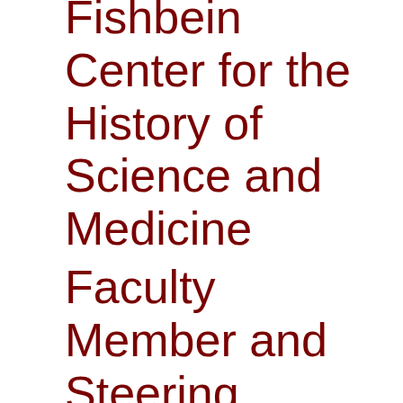Fishbein Center for the History of Science and Medicine
Faculty Member and Steering Committee, Institute on the Formation of Knowledge